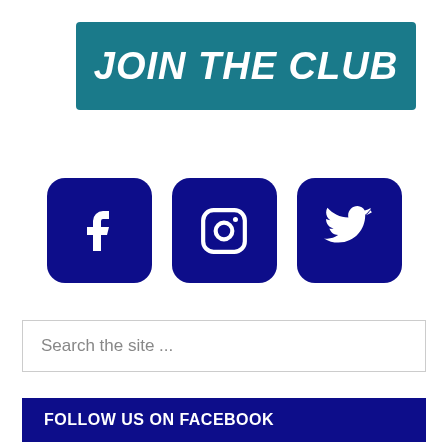[Figure (illustration): Teal/dark cyan banner with bold italic white uppercase text 'JOIN THE CLUB']
[Figure (infographic): Three dark navy blue rounded square social media icons: Facebook (f), Instagram (camera), Twitter (bird)]
Search the site ...
FOLLOW US ON FACEBOOK